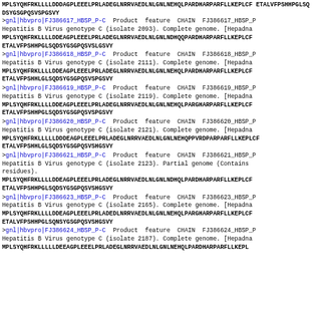MPLSYQHFRKLLLLDDDAGPLEEELPRLADEGLNRRVAEDLNLGNLNEHQLPARDHARPARFLLKEPLCFETALVFPSHHPGLSQDSYGSGPQSVSPGSVY
>gnl|hbvpro|FJ386617_HBSP_P-C Product feature CHAIN FJ386617_HBSP_P Hepatitis B Virus genotype C (isolate 2093). Complete genome. [Hepadna MPLSYQHFRKLLLLDDEAGPLEEELPRLADEGLNRRVAEDLNLGNLNDHQQPARDHARPARFLLKEPLCFETALVFPSHHPGLSQDSYGSGPQSVSLGSVY
>gnl|hbvpro|FJ386618_HBSP_P-C Product feature CHAIN FJ386618_HBSP_P Hepatitis B Virus genotype C (isolate 2111). Complete genome. [Hepadna MPLSYQHFRKLLLLDDEAGPLEEELPRLADEGLNRRVAEDLNLGNLNEHQLPARDHARPARFLLKEPLCFETALVFPSHHLGLSQDSYGSGPQSVSPGSVY
>gnl|hbvpro|FJ386619_HBSP_P-C Product feature CHAIN FJ386619_HBSP_P Hepatitis B Virus genotype C (isolate 2119). Complete genome. [Hepadna MPLSYQHFRKLLLLDDEAGPLEEELPRLADEGLNRRVAEDLNLGNLNEHQLPARGHARPARFLLKEPLCFETALVFPSHHPGLSQDSYGSGPQSVSPGSVY
>gnl|hbvpro|FJ386620_HBSP_P-C Product feature CHAIN FJ386620_HBSP_P Hepatitis B Virus genotype C (isolate 2121). Complete genome. [Hepadna MPLSYQHFRKLLLLLDDDEAGPLEEELPRLADEGLNRRVAEDLNLGNLNEHQPPVRDPARPARFLLKEPLCFETALVFPSHHLGLSQDSYGSGPQSVSHGSVY
>gnl|hbvpro|FJ386621_HBSP_P-C Product feature CHAIN FJ386621_HBSP_P Hepatitis B Virus genotype C (isolate 2123). Partial genome (Contains residues). MPLSYQHFRKLLLLDDEAGPLEEELPRLADEGLNRRVAEDLNLGNLNDHQLPARDHARPARFLLKEPLCFETALVFPSHHPGLSQDSYGSGPQSVSHGSVY
>gnl|hbvpro|FJ386623_HBSP_P-C Product feature CHAIN FJ386623_HBSP_P Hepatitis B Virus genotype C (isolate 2165). Complete genome. [Hepadna MPLSYQHFRKLLLLDDEAGPLEEELPRLADEDLNRRVAEDLNLGNLNEHQLPARGHARPARFLLKEPLCFETALVFPSHHPGLSQNSYGSGPQSVSHGSVY
>gnl|hbvpro|FJ386624_HBSP_P-C Product feature CHAIN FJ386624_HBSP_P Hepatitis B Virus genotype C (isolate 2187). Complete genome. [Hepadna MPLSYQHFRKLLLLLDEEAGPLEEELPRLADEGLNRRVAEDLNLGNLNEHQLPARDHARPARFLLKEPL